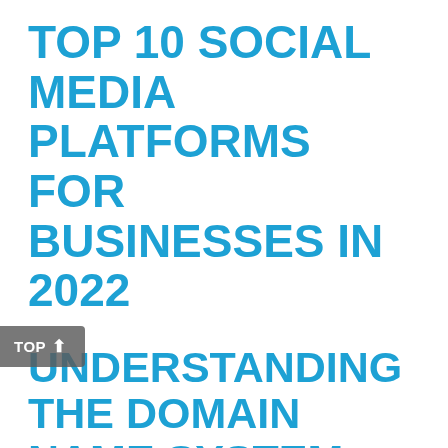TOP 10 SOCIAL MEDIA PLATFORMS FOR BUSINESSES IN 2022
UNDERSTANDING THE DOMAIN NAME SYSTEM (DNS)
AVOID THE PITFALLS OF MARKETING MYOPIA
HERE'S WHY ACCESSIBILITY